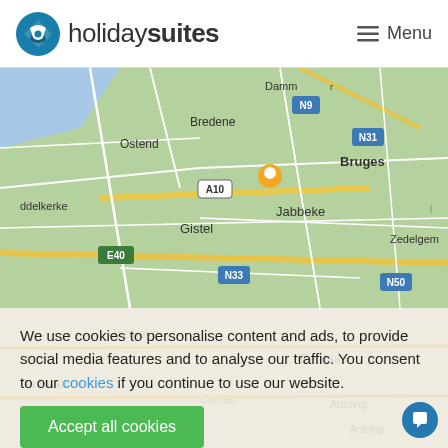holidaysuites  Menu
[Figure (map): Google Maps view centered on Jabbeke, Belgium, showing roads and towns including Ostend, Bredene, Bruges, Gistel, Zedelgem, Oostkamp, with route markers A10, E40, N9, N31, N33, N50 and an orange location pin on Jabbeke.]
We use cookies to personalise content and ads, to provide social media features and to analyse our traffic. You consent to our cookies if you continue to use our website.
Accept all cookies